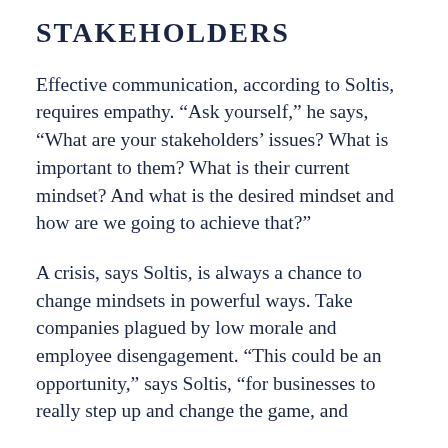STAKEHOLDERS
Effective communication, according to Soltis, requires empathy. “Ask yourself,” he says, “What are your stakeholders’ issues? What is important to them? What is their current mindset? And what is the desired mindset and how are we going to achieve that?”
A crisis, says Soltis, is always a chance to change mindsets in powerful ways. Take companies plagued by low morale and employee disengagement. “This could be an opportunity,” says Soltis, “for businesses to really step up and change the game, and